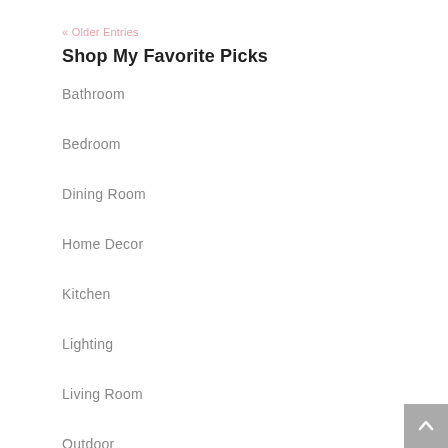« Older Entries
Shop My Favorite Picks
Bathroom
Bedroom
Dining Room
Home Decor
Kitchen
Lighting
Living Room
Outdoor
Rugs